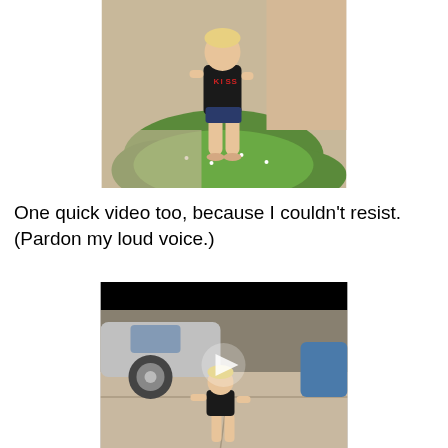[Figure (photo): Child standing barefoot on grass/clover patch near a sidewalk, wearing a dark KISS band t-shirt and blue shorts]
One quick video too, because I couldn't resist. (Pardon my loud voice.)
[Figure (screenshot): Video thumbnail showing a toddler walking on a sidewalk near parked cars, with a play button overlay in the center]